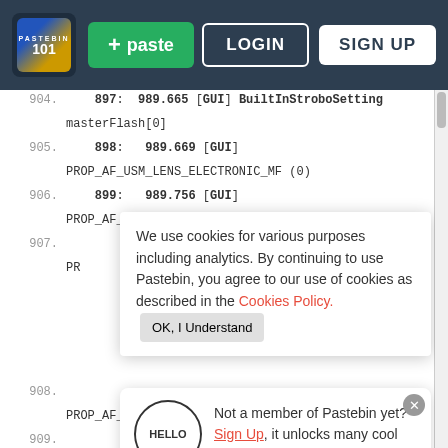Pastebin navigation bar with logo, paste button, LOGIN and SIGN UP buttons
904.    897:  989.665 [GUI] BuiltInStroboSetting masterFlash[0]
905.    898:  989.669 [GUI] PROP_AF_USM_LENS_ELECTRONIC_MF (0)
906.    899:  989.756 [GUI] PROP_AF_AISERVO_1FRAME_ACT_PRIORITY (0)
907.    PR  We use cookies for various purposes including analytics. By continuing to use Pastebin, you agree to our use of cookies as described in the Cookies Policy.  OK, I Understand
908.    PROP_AF_ONESHOT_ACT_PRIORITY (0)
909.    PR  Not a member of Pastebin yet? Sign Up, it unlocks many cool features!
910.
911.    LAY
912.    FIRING
[Figure (screenshot): Walgreens Photo advertisement - Shop Health & Wellness]